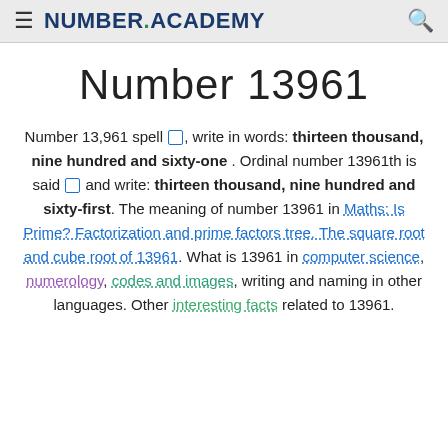NUMBER.ACADEMY
Number 13961
Number 13,961 spell 🔊, write in words: thirteen thousand, nine hundred and sixty-one . Ordinal number 13961th is said 🔊 and write: thirteen thousand, nine hundred and sixty-first. The meaning of number 13961 in Maths: Is Prime? Factorization and prime factors tree. The square root and cube root of 13961. What is 13961 in computer science, numerology, codes and images, writing and naming in other languages. Other interesting facts related to 13961.